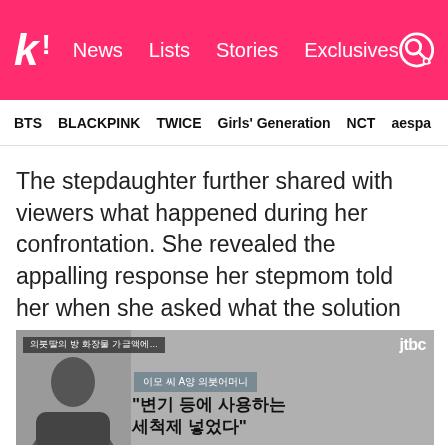k! News Lists Stories Exclusives
BTS BLACKPINK TWICE Girls' Generation NCT aespa
The stepdaughter further shared with viewers what happened during her confrontation. She revealed the appalling response her stepmom told her when she asked what the solution was.
[Figure (screenshot): Korean news broadcast screenshot from JTBC showing a silhouetted woman with Korean text overlay reading '이모 씨 A양 의붓어머니' (Aunt, stepmom of A) and '"변기 등에 사용하는 세척제 넣었다"' (I put toilet bowl cleaner in it). Upper left shows a subtitle bar.]